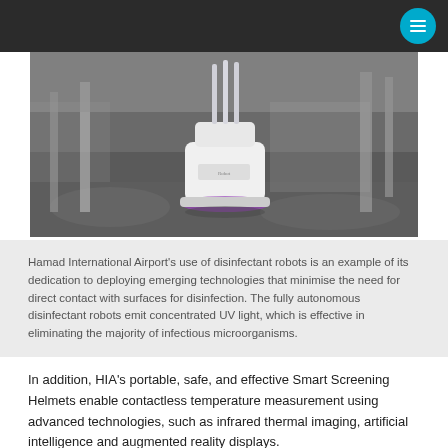[Figure (photo): A white autonomous disinfectant robot with UV light tubes on top, photographed in an airport terminal interior with reflective floors and columns.]
Hamad International Airport's use of disinfectant robots is an example of its dedication to deploying emerging technologies that minimise the need for direct contact with surfaces for disinfection. The fully autonomous disinfectant robots emit concentrated UV light, which is effective in eliminating the majority of infectious microorganisms.
In addition, HIA's portable, safe, and effective Smart Screening Helmets enable contactless temperature measurement using advanced technologies, such as infrared thermal imaging, artificial intelligence and augmented reality displays.